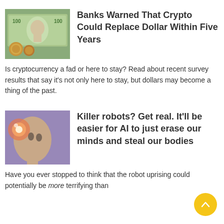[Figure (photo): Image of a $100 bill and gold coins]
Banks Warned That Crypto Could Replace Dollar Within Five Years
Is cryptocurrency a fad or here to stay? Read about recent survey results that say it's not only here to stay, but dollars may become a thing of the past.
[Figure (photo): Artistic image of a woman's head with glowing brain/AI overlay on purple background]
Killer robots? Get real. It'll be easier for AI to just erase our minds and steal our bodies
Have you ever stopped to think that the robot uprising could potentially be more terrifying than you'd thought? Read this scary take on...